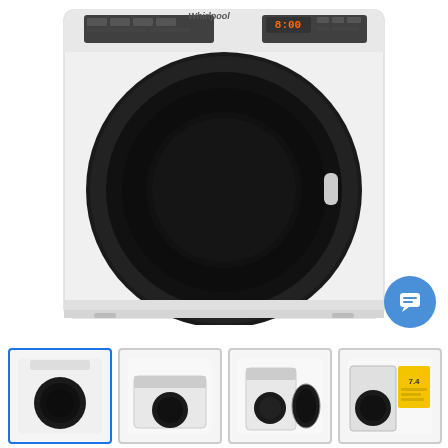[Figure (photo): Whirlpool front-load washing machine or dryer in white with large black circular door, control panel at top with digital display, front-facing product shot on white background]
[Figure (photo): Thumbnail 1 (selected/active): front view of Whirlpool front-load appliance]
[Figure (photo): Thumbnail 2: side/alternate angle of Whirlpool front-load appliance]
[Figure (photo): Thumbnail 3: Whirlpool front-load appliance with door open]
[Figure (photo): Thumbnail 4: Whirlpool appliance set/lifestyle shot with yellow accent]